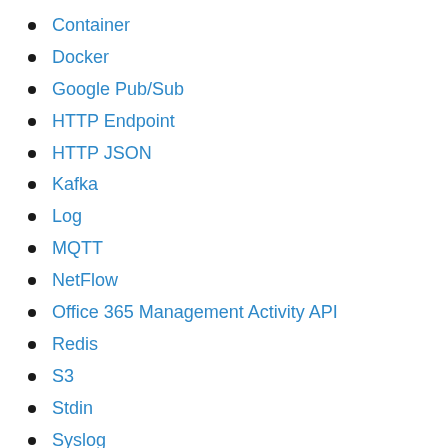Container
Docker
Google Pub/Sub
HTTP Endpoint
HTTP JSON
Kafka
Log
MQTT
NetFlow
Office 365 Management Activity API
Redis
S3
Stdin
Syslog
TCP
UDP